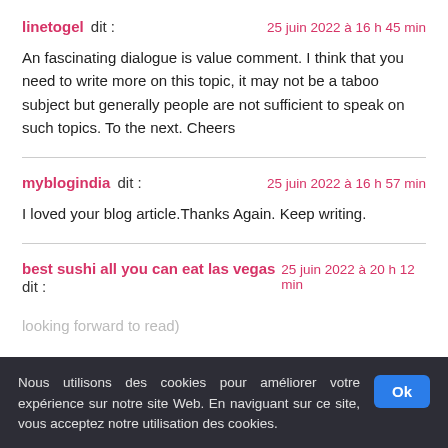linetogel dit : 25 juin 2022 à 16 h 45 min
An fascinating dialogue is value comment. I think that you need to write more on this topic, it may not be a taboo subject but generally people are not sufficient to speak on such topics. To the next. Cheers
myblogindia dit : 25 juin 2022 à 16 h 57 min
I loved your blog article.Thanks Again. Keep writing.
best sushi all you can eat las vegas dit : 25 juin 2022 à 20 h 12 min
looking forward to read)
Nous utilisons des cookies pour améliorer votre expérience sur notre site Web. En naviguant sur ce site, vous acceptez notre utilisation des cookies.